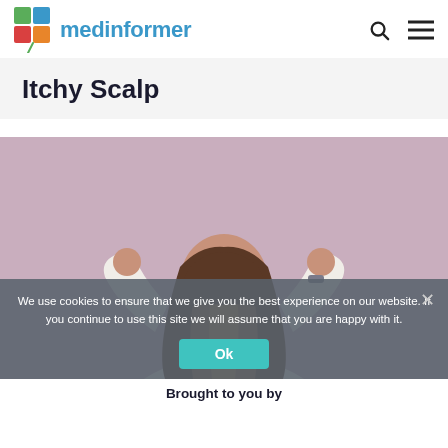medinformer
Itchy Scalp
[Figure (photo): Woman in white top scratching her head with both hands, long brown hair, against a pink/mauve background.]
We use cookies to ensure that we give you the best experience on our website. If you continue to use this site we will assume that you are happy with it.
Brought to you by